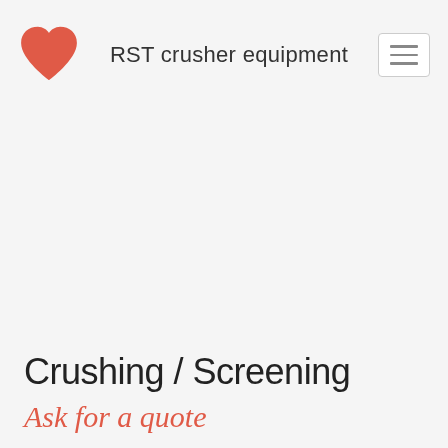RST crusher equipment
Crushing / Screening
Ask for a quote